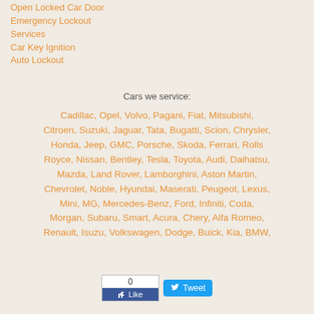Open Locked Car Door
Emergency Lockout Services
Car Key Ignition
Auto Lockout
Cars we service:
Cadillac, Opel, Volvo, Pagani, Fiat, Mitsubishi, Citroen, Suzuki, Jaguar, Tata, Bugatti, Scion, Chrysler, Honda, Jeep, GMC, Porsche, Skoda, Ferrari, Rolls Royce, Nissan, Bentley, Tesla, Toyota, Audi, Daihatsu, Mazda, Land Rover, Lamborghini, Aston Martin, Chevrolet, Noble, Hyundai, Maserati, Peugeot, Lexus, Mini, MG, Mercedes-Benz, Ford, Infiniti, Coda, Morgan, Subaru, Smart, Acura, Chery, Alfa Romeo, Renault, Isuzu, Volkswagen, Dodge, Buick, Kia, BMW,